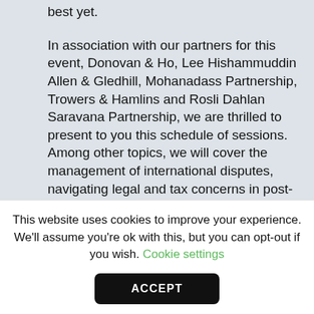best yet.
In association with our partners for this event, Donovan & Ho, Lee Hishammuddin Allen & Gledhill, Mohanadass Partnership, Trowers & Hamlins and Rosli Dahlan Saravana Partnership, we are thrilled to present to you this schedule of sessions. Among other topics, we will cover the management of international disputes, navigating legal and tax concerns in post-pandemic M&A transactions, sustainable investments, managing data in the information age and the changing Malaysian employment law landscape.
This website uses cookies to improve your experience. We'll assume you're ok with this, but you can opt-out if you wish. Cookie settings
ACCEPT